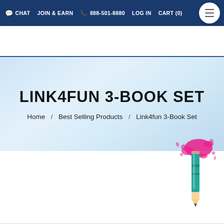CHAT  JOIN & EARN  888-501-8880  LOG IN  CART (0)
LINK4FUN 3-BOOK SET
Home / Best Selling Products / Link4fun 3-Book Set
[Figure (illustration): Pencil with pink paint splash illustration in bottom right of page]